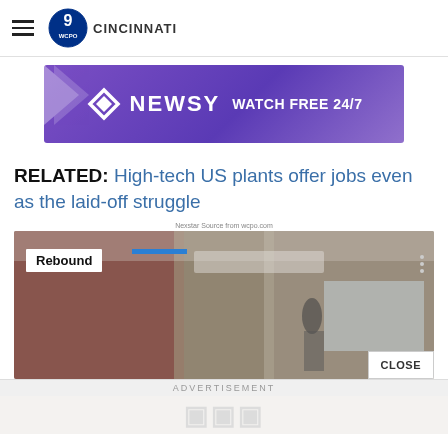WCPO 9 CINCINNATI
[Figure (screenshot): Newsy advertisement banner — purple background with Newsy logo and text 'WATCH FREE 24/7']
RELATED: High-tech US plants offer jobs even as the laid-off struggle
Nexstar Source from wcpo.com
[Figure (screenshot): Video player thumbnail showing an indoor room scene with a 'Rebound' badge overlay, blue bar, three-dot menu, and a CLOSE button]
ADVERTISEMENT